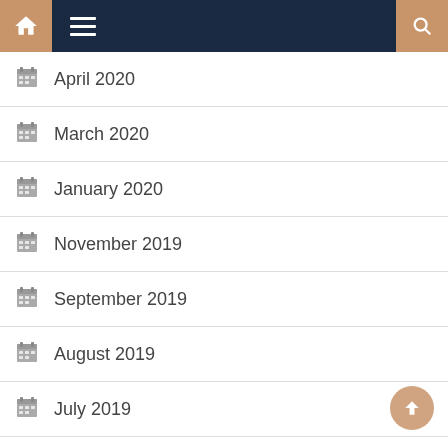Navigation bar with home, menu, and search icons
April 2020
March 2020
January 2020
November 2019
September 2019
August 2019
July 2019
June 2019
May 2019
April 2019